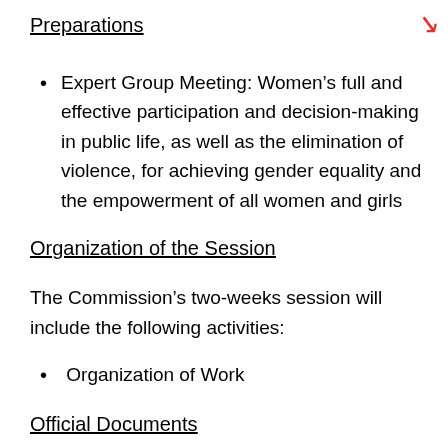Preparations
Expert Group Meeting: Women’s full and effective participation and decision-making in public life, as well as the elimination of violence, for achieving gender equality and the empowerment of all women and girls
Organization of the Session
The Commission’s two-weeks session will include the following activities:
Organization of Work
Official Documents